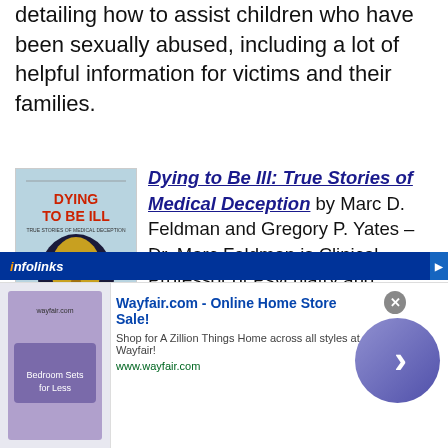detailing how to assist children who have been sexually abused, including a lot of helpful information for victims and their families.
[Figure (illustration): Book cover of 'Dying to Be Ill: True Stories of Medical Deception' with a stylized face illustration on a blue background, authors Marc D. Feldman and Gregory P. Yates, Routledge publisher logo]
Dying to Be Ill: True Stories of Medical Deception by Marc D. Feldman and Gregory P. Yates – Dr. Marc Feldman is Clinical Professor of Psychiatry and Adjunct Professor of Psychology,
[Figure (screenshot): infolinks advertisement bar and Wayfair.com online home store sale advertisement banner]